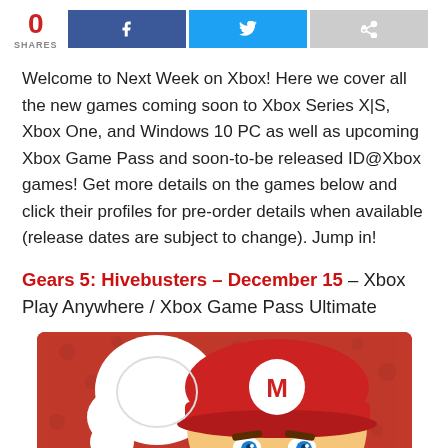0 SHARES [Facebook share button] [Twitter share button] [Share button]
Welcome to Next Week on Xbox! Here we cover all the new games coming soon to Xbox Series X|S, Xbox One, and Windows 10 PC as well as upcoming Xbox Game Pass and soon-to-be released ID@Xbox games! Get more details on the games below and click their profiles for pre-order details when available (release dates are subject to change). Jump in!
Gears 5: Hivebusters – December 15 – Xbox Play Anywhere / Xbox Game Pass Ultimate
[Figure (photo): Close-up photo of Mario character with red cap with M logo, white gloves, blue eyes visible at bottom, red patterned background]